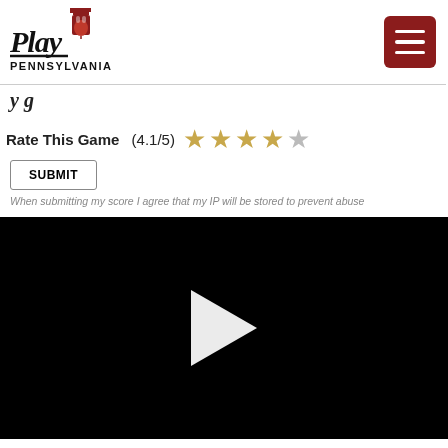[Figure (logo): Play Pennsylvania logo with Liberty Bell graphic and cursive 'Play' text above 'PENNSYLVANIA']
[Figure (other): Hamburger menu button (three horizontal lines) on dark red/maroon background]
y g
Rate This Game   (4.1/5)  ★★★★☆
SUBMIT
When submitting my score I agree that my IP will be stored to prevent abuse
[Figure (other): Black video player area with white play button triangle in center]